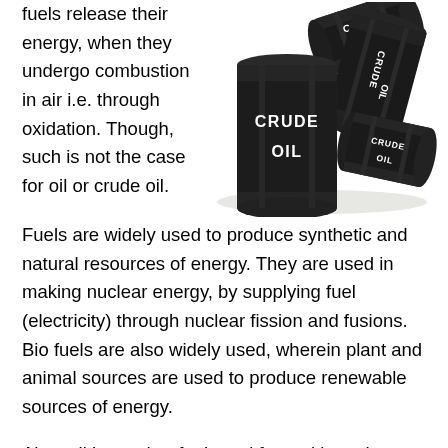fuels release their energy, when they undergo combustion in air i.e. through oxidation. Though, such is not the case for oil or crude oil. Fuels are widely used to produce synthetic and natural resources of energy. They are used in making nuclear energy, by supplying fuel (electricity) through nuclear fission and fusions. Bio fuels are also widely used, wherein plant and animal sources are used to produce renewable sources of energy.
[Figure (photo): Three black crude oil barrels/drums labeled CRUDE OIL, stacked and arranged together against a white background.]
Also, oil is another fuel used for making other energy products such as diesel, kerosene, chemical lubricants